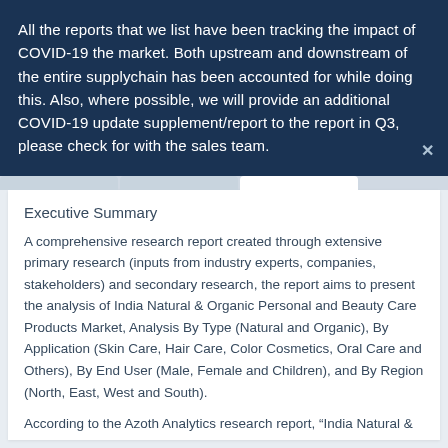All the reports that we list have been tracking the impact of COVID-19 the market. Both upstream and downstream of the entire supplychain has been accounted for while doing this. Also, where possible, we will provide an additional COVID-19 update supplement/report to the report in Q3, please check for with the sales team.
Executive Summary
A comprehensive research report created through extensive primary research (inputs from industry experts, companies, stakeholders) and secondary research, the report aims to present the analysis of India Natural & Organic Personal and Beauty Care Products Market, Analysis By Type (Natural and Organic), By Application (Skin Care, Hair Care, Color Cosmetics, Oral Care and Others), By End User (Male, Female and Children), and By Region (North, East, West and South).
According to the Azoth Analytics research report, "India Natural & Organic Personal and Beauty Care Products